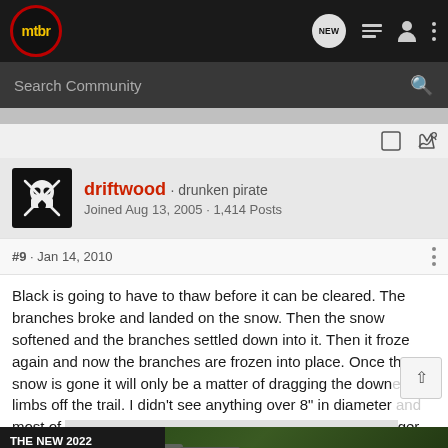mtbr — NEW (navigation icons)
Search Community
driftwood · drunken pirate
Joined Aug 13, 2005 · 1,414 Posts
#9 · Jan 14, 2010
Black is going to have to thaw before it can be cleared. The branches broke and landed on the snow. Then the snow softened and the branches settled down into it. Then it froze again and now the branches are frozen into place. Once the snow is gone it will only be a matter of dragging the downed limbs off the trail. I didn't see anything over 8" in diameter and most of [ad] ger connect[ad] f guys with sm[ad] once
[Figure (screenshot): Advertisement: The New 2022 Silverado. Explore. Chevrolet. Truck image on dark green background.]